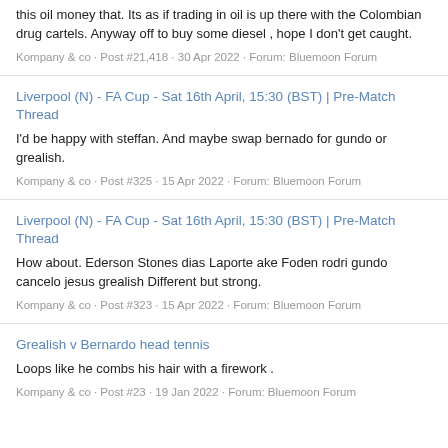this oil money that. Its as if trading in oil is up there with the Colombian drug cartels. Anyway off to buy some diesel , hope I don't get caught.
Kompany & co · Post #21,418 · 30 Apr 2022 · Forum: Bluemoon Forum
Liverpool (N) - FA Cup - Sat 16th April, 15:30 (BST) | Pre-Match Thread
I'd be happy with steffan. And maybe swap bernado for gundo or grealish.
Kompany & co · Post #325 · 15 Apr 2022 · Forum: Bluemoon Forum
Liverpool (N) - FA Cup - Sat 16th April, 15:30 (BST) | Pre-Match Thread
How about. Ederson Stones dias Laporte ake Foden rodri gundo cancelo jesus grealish Different but strong.
Kompany & co · Post #323 · 15 Apr 2022 · Forum: Bluemoon Forum
Grealish v Bernardo head tennis
Loops like he combs his hair with a firework .
Kompany & co · Post #23 · 19 Jan 2022 · Forum: Bluemoon Forum